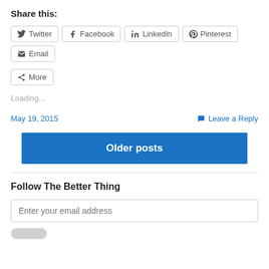Share this:
Twitter  Facebook  LinkedIn  Pinterest  Email  More
Loading...
May 19, 2015    Leave a Reply
Older posts
Follow The Better Thing
Enter your email address